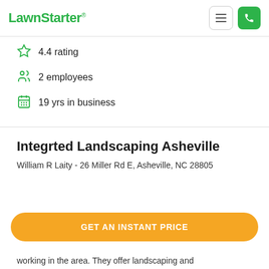LawnStarter
4.4 rating
2 employees
19 yrs in business
Integrted Landscaping Asheville
William R Laity - 26 Miller Rd E, Asheville, NC 28805
GET AN INSTANT PRICE
working in the area. They offer landscaping and